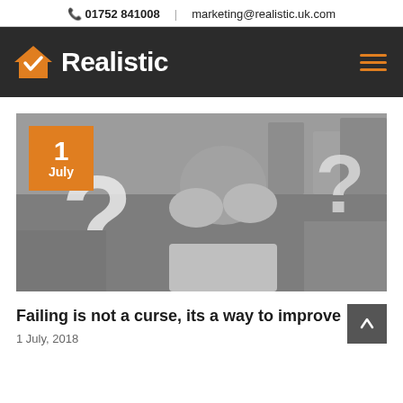📞 01752 841008  |  marketing@realistic.uk.com
[Figure (logo): Realistic company logo — orange house with checkmark icon and white bold text 'Realistic' on dark background]
[Figure (photo): Black and white photo of a child holding head in hands with large question marks overlaid; orange date badge showing '1 July']
Failing is not a curse, its a way to improve
1 July, 2018